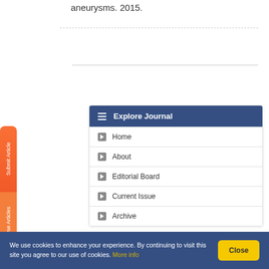aneurysms. 2015.
[Figure (screenshot): Explore Journal navigation menu widget with items: Home, About, Editorial Board, Current Issue, Archive]
We use cookies to enhance your experience. By continuing to visit this site you agree to our use of cookies. More info
Close